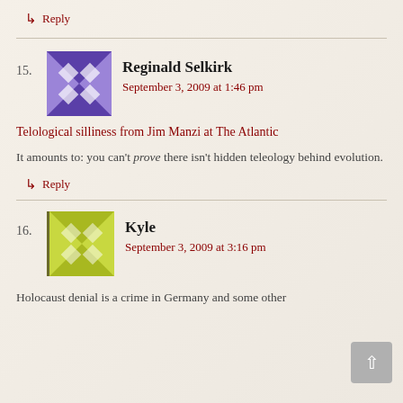↳ Reply
15. Reginald Selkirk
September 3, 2009 at 1:46 pm
Telological silliness from Jim Manzi at The Atlantic
It amounts to: you can't prove there isn't hidden teleology behind evolution.
↳ Reply
16. Kyle
September 3, 2009 at 3:16 pm
Holocaust denial is a crime in Germany and some other